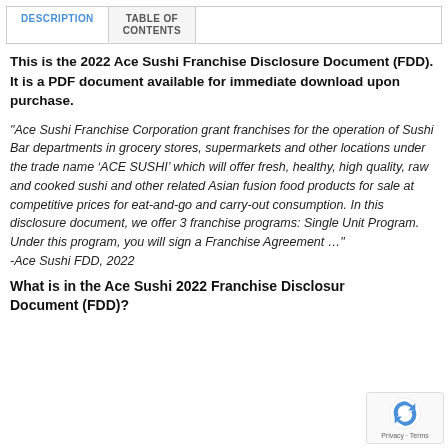DESCRIPTION | TABLE OF CONTENTS
This is the 2022 Ace Sushi Franchise Disclosure Document (FDD). It is a PDF document available for immediate download upon purchase.
“Ace Sushi Franchise Corporation grant franchises for the operation of Sushi Bar departments in grocery stores, supermarkets and other locations under the trade name ‘ACE SUSHI’ which will offer fresh, healthy, high quality, raw and cooked sushi and other related Asian fusion food products for sale at competitive prices for eat-and-go and carry-out consumption. In this disclosure document, we offer 3 franchise programs: Single Unit Program. Under this program, you will sign a Franchise Agreement …” -Ace Sushi FDD, 2022
What is in the Ace Sushi 2022 Franchise Disclosure Document (FDD)?